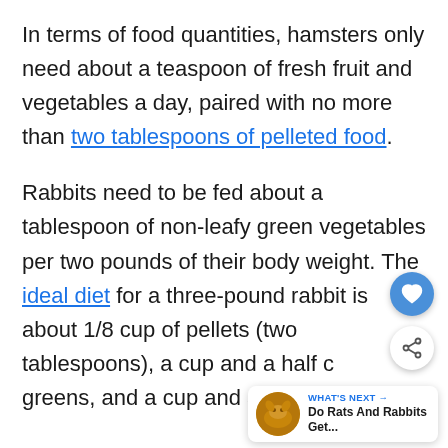In terms of food quantities, hamsters only need about a teaspoon of fresh fruit and vegetables a day, paired with no more than two tablespoons of pelleted food.
Rabbits need to be fed about a tablespoon of non-leafy green vegetables per two pounds of their body weight. The ideal diet for a three-pound rabbit is about 1/8 cup of pellets (two tablespoons), a cup and a half c[...] greens, and a cup and a half of chopped